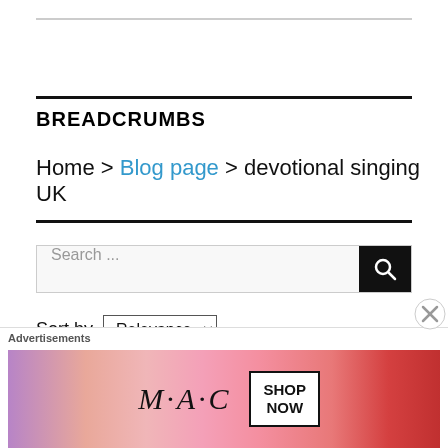BREADCRUMBS
Home > Blog page > devotional singing UK
[Figure (screenshot): Search bar with search icon button]
Sort by Relevance
[Figure (advertisement): MAC cosmetics advertisement showing lipsticks with SHOP NOW button]